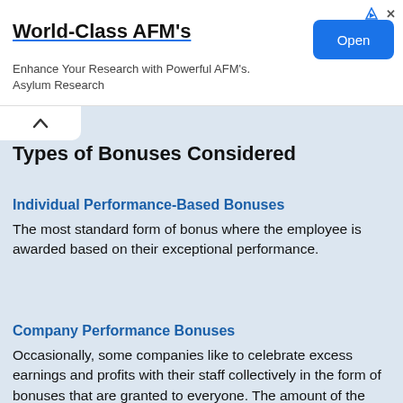[Figure (other): Advertisement banner for World-Class AFM's by Asylum Research with an Open button]
Types of Bonuses Considered
Individual Performance-Based Bonuses
The most standard form of bonus where the employee is awarded based on their exceptional performance.
Company Performance Bonuses
Occasionally, some companies like to celebrate excess earnings and profits with their staff collectively in the form of bonuses that are granted to everyone. The amount of the bonus will probably be different from person to person